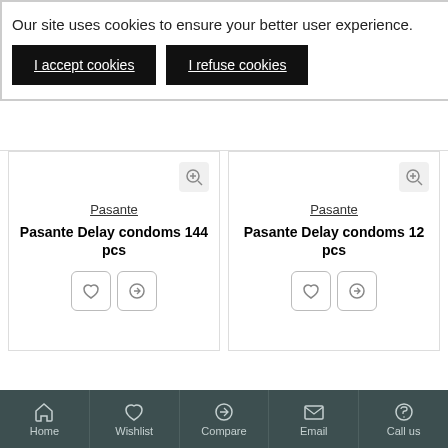Our site uses cookies to ensure your better user experience.
I accept cookies
I refuse cookies
Pasante
Pasante Delay condoms 144 pcs
Pasante
Pasante Delay condoms 12 pcs
FILTER PRODUCTS
You have reached the end of the list.
Home  Wishlist  Compare  Email  Call us